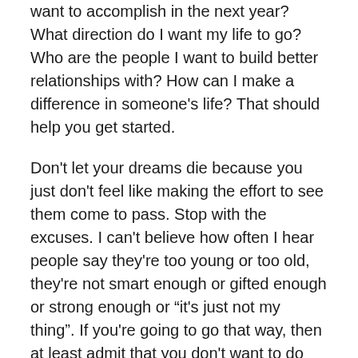want to accomplish in the next year? What direction do I want my life to go? Who are the people I want to build better relationships with? How can I make a difference in someone's life? That should help you get started.
Don't let your dreams die because you just don't feel like making the effort to see them come to pass. Stop with the excuses. I can't believe how often I hear people say they're too young or too old, they're not smart enough or gifted enough or strong enough or “it's just not my thing”. If you're going to go that way, then at least admit that you don't want to do the work to pursue the dream and then be quiet about it. Forever.
I will say this. If your dreams have died, you have forgotten who Jesus is. You have forgotten that one word from Him can have you walking on water. You have limited